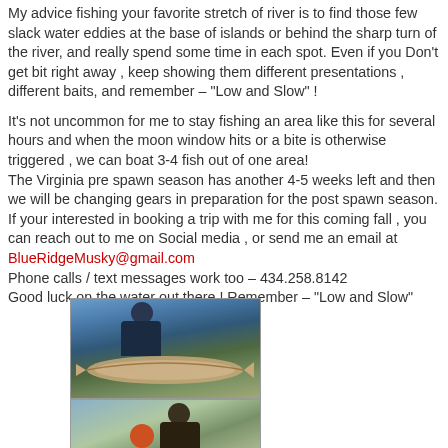My advice fishing your favorite stretch of river is to find those few slack water eddies at the base of islands or behind the sharp turn of the river, and really spend some time in each spot. Even if you Don't get bit right away , keep showing them different presentations , different baits, and remember – "Low and Slow" !
It's not uncommon for me to stay fishing an area like this for several hours and when the moon window hits or a bite is otherwise triggered , we can boat 3-4 fish out of one area!
The Virginia pre spawn season has another 4-5 weeks left and then we will be changing gears in preparation for the post spawn season. If your interested in booking a trip with me for this coming fall , you can reach out to me on Social media , or send me an email at BlueRidgeMusky@gmail.com
Phone calls / text messages work too – 434.258.8142
Good luck on the water out there ! Remember – "Low and Slow"
[Figure (photo): Two side-by-side photos (top row) and two partial photos (bottom row) showing anglers holding large musky fish, with river and outdoor backgrounds.]